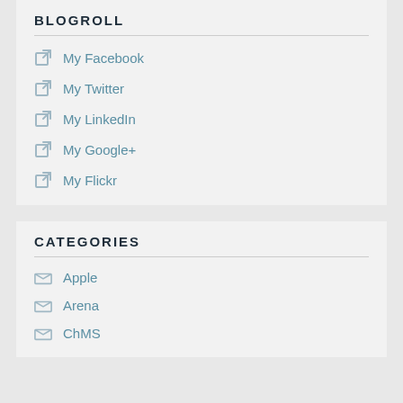BLOGROLL
My Facebook
My Twitter
My LinkedIn
My Google+
My Flickr
CATEGORIES
Apple
Arena
ChMS